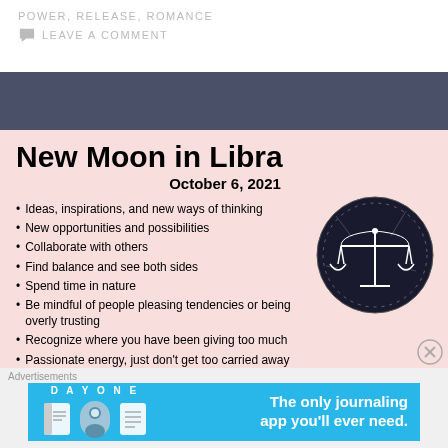POWER, RELEASE, ROMANCE
LEAVE A COMMENT
New Moon in Libra
October 6, 2021
Ideas, inspirations, and new ways of thinking
New opportunities and possibilities
Collaborate with others
Find balance and see both sides
Spend time in nature
Be mindful of people pleasing tendencies or being overly trusting
Recognize where you have been giving too much
Passionate energy, just don't get too carried away
Reclaim your power and balance the scales
[Figure (illustration): Libra zodiac scales symbol in a dark circle with white line art illustration]
Advertisements
[Figure (infographic): Day One journaling app advertisement banner with blue background, app icons, and text 'The only journaling app you'll ever need.']